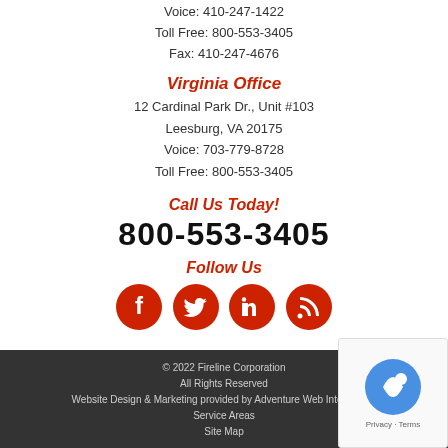Voice: 410-247-1422
Toll Free: 800-553-3405
Fax: 410-247-4676
Virginia Office
12 Cardinal Park Dr., Unit #103
Leesburg, VA 20175
Voice: 703-779-8728
Toll Free: 800-553-3405
Call Us Today!
800-553-3405
Follow Us
[Figure (infographic): Four red circular social media icons: Facebook, Twitter, LinkedIn, RSS feed]
© 2022 Fireline Corporation
All Rights Reserved
Website Design & Marketing provided by Adventure Web Interactive
Service Areas
Site Map